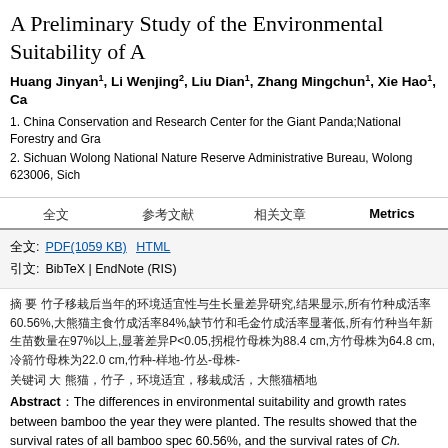A Preliminary Study of the Environmental Suitability of A
Huang Jinyan1, Li Wenjing2, Liu Dian1, Zhang Mingchun1, Xie Hao1, Ca
1. China Conservation and Research Center for the Giant Panda;National Forestry and Gra
2. Sichuan Wolong National Nature Reserve Administrative Bureau, Wolong 623006, Sich
全文  参考文献  相关文章  Metrics
全文: PDF(1059 KB)  HTML
引文: BibTeX | EndNote (RIS)
摘 要 竹子移栽后当年的环境适宜性与生长量差异研究,结果显示,所有竹种成活率60.56%,大熊猫主食竹成活率84%,缺节竹和毛金竹成活率显著低,所有竹种当年新生苗数量在97%以上,显著差异P<0.05,拐棍竹母株为88.4 cm,方竹母株为64.8 cm,冷箭竹母株为22.0 cm,竹种-样地-竹丛-母株-
关键词 大 熊猫, 竹子, 环境适宜, 移栽成活, 大熊猫栖地
Abstract：The differences in environmental suitability and growth rates between bamboo the year they were planted. The results showed that the survival rates of all bamboo spec 60.56%, and the survival rates of Ch. neopurpurea and Phyllostachys bissetii were signif mother plants for Fargesia robusta, F. angustissima, Ph. bissetii, Ph. nidularia, Ch. szech 231, 181, 165, 61, and 59, respectively. The buds of F. robusta, F. angustissima and Ph. b others, while the bamboo shoots number of P. maculatus and Ch. neopurpurea were the l at more than 97%, which were followed by F. angustissima and Ch. neopurpurea, and Ch